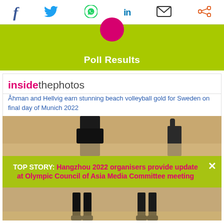Social share bar: Facebook, Twitter, WhatsApp, LinkedIn, Email, Share
[Figure (infographic): Green bar with pink circle at top and Poll Results text in white]
insidethephotos
Åhman and Hellvig earn stunning beach volleyball gold for Sweden on final day of Munich 2022
[Figure (photo): Beach volleyball players on sand, one with arm raised]
TOP STORY: Hangzhou 2022 organisers provide update at Olympic Council of Asia Media Committee meeting
[Figure (photo): Beach volleyball players legs on sand court]